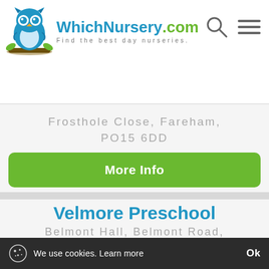[Figure (logo): WhichNursery.com logo with owl mascot and tagline 'Find the best day nurseries.']
Frosthole Close, Fareham, PO15 6DD
More Info
Velmore Preschool
Belmont Hall, Belmont Road,
Filter nurseries by:
[Figure (infographic): Filter icons row: star rating, award/featured, location pin, alphabetical sort]
We use cookies. Learn more
Ok